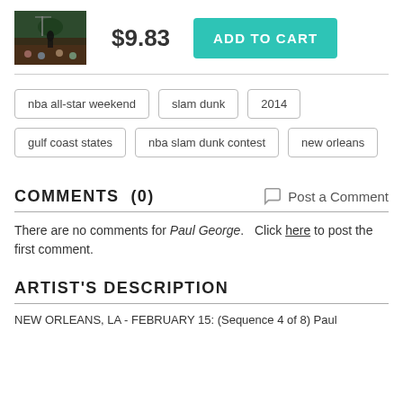[Figure (photo): Thumbnail image of a basketball slam dunk at an NBA event]
$9.83
ADD TO CART
nba all-star weekend
slam dunk
2014
gulf coast states
nba slam dunk contest
new orleans
COMMENTS  (0)
Post a Comment
There are no comments for Paul George.   Click here to post the first comment.
ARTIST'S DESCRIPTION
NEW ORLEANS, LA - FEBRUARY 15: (Sequence 4 of 8) Paul